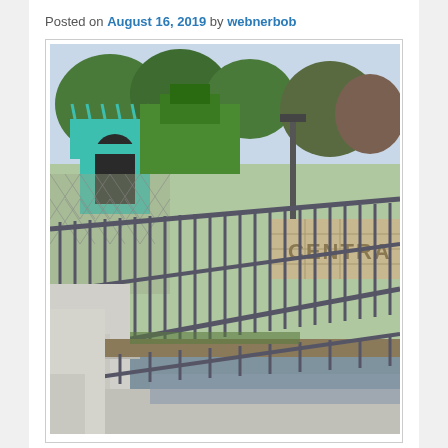Posted on August 16, 2019 by webnerbob
[Figure (photo): Outdoor photograph showing a metal railing/fence along a waterway or canal path, with a teal/turquoise decorative structure or sculpture visible in the background surrounded by trees. A stone wall with letters 'CENTRA' partially visible is on the right side. The foreground shows a concrete walkway.]